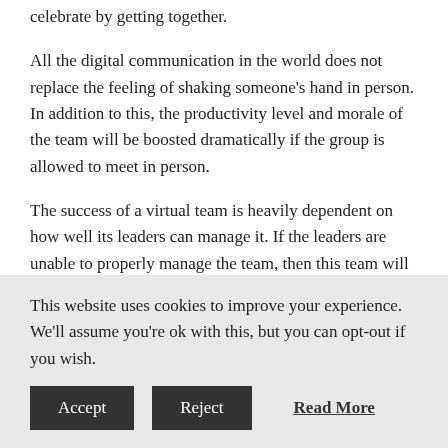celebrate by getting together.
All the digital communication in the world does not replace the feeling of shaking someone's hand in person. In addition to this, the productivity level and morale of the team will be boosted dramatically if the group is allowed to meet in person.
The success of a virtual team is heavily dependent on how well its leaders can manage it. If the leaders are unable to properly manage the team, then this team will largely become a failure.
Proper Leadership
No matter how much technology changes, human psychology does not, and this means that old fashioned leadership qualities are just as important with virtual teams as it is with physical ones.
This website uses cookies to improve your experience. We'll assume you're ok with this, but you can opt-out if you wish.